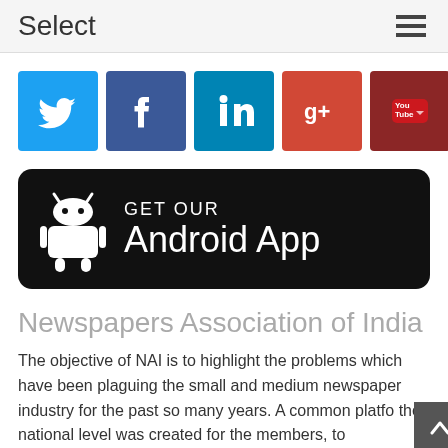Select
[Figure (illustration): Row of 7 social media icon buttons: Twitter (blue), Facebook (dark blue), LinkedIn (teal), Google+ (red), YouTube (dark red), Email (orange), RSS (yellow-orange)]
[Figure (illustration): Black rounded rectangle button with Android robot icon and text: GET OUR Android App]
Newspapers Association of India
The objective of NAI is to highlight the problems which have been plaguing the small and medium newspaper industry for the past so many years. A common platform at the national level was created for the members, to